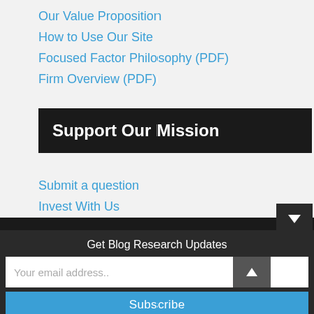Our Value Proposition
How to Use Our Site
Focused Factor Philosophy (PDF)
Firm Overview (PDF)
Support Our Mission
Submit a question
Invest With Us
Get Blog Research Updates
Your email address..
Subscribe